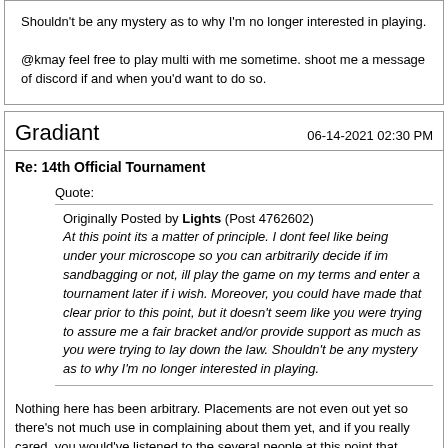Shouldn't be any mystery as to why I'm no longer interested in playing.

@kmay feel free to play multi with me sometime. shoot me a message of discord if and when you'd want to do so.
Gradiant
06-14-2021 02:30 PM
Re: 14th Official Tournament
Quote:
Originally Posted by Lights (Post 4762602)
At this point its a matter of principle. I dont feel like being under your microscope so you can arbitrarily decide if im sandbagging or not, ill play the game on my terms and enter a tournament later if i wish. Moreover, you could have made that clear prior to this point, but it doesn't seem like you were trying to assure me a fair bracket and/or provide support as much as you were trying to lay down the law. Shouldn't be any mystery as to why I'm no longer interested in playing.
Nothing here has been arbitrary. Placements are not even out yet so there's not much use in complaining about them yet, and if you really cared, you would've listened to the several people at this point that responded to you about the situation. Making psycho out to be the bad guy here isn't a good move.